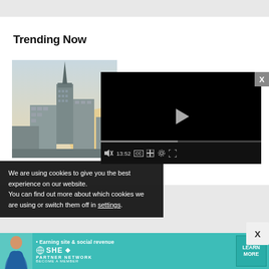Trending Now
[Figure (photo): City skyline photo showing a tall building with a pointed spire and surrounding urban buildings at sunrise/golden hour]
[Figure (screenshot): Video player with black background, play button in center, progress bar showing 13:52, and controls including mute, CC, grid, settings, and fullscreen buttons]
We are using cookies to give you the best experience on our website.
You can find out more about which cookies we are using or switch them off in settings.
[Figure (infographic): SHE Partner Network advertisement banner with teal background, person photo, text 'Earning site & social revenue', SHE logo, and 'LEARN MORE / BECOME A MEMBER' button]